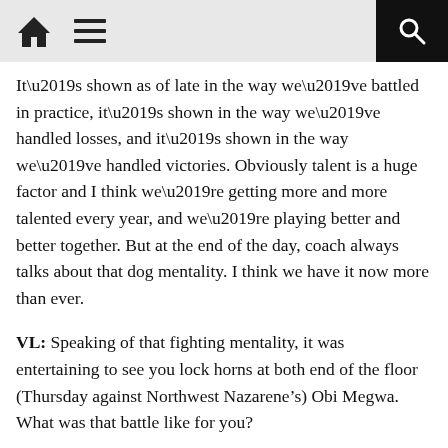[home icon] [menu icon] [search icon]
It’s shown as of late in the way we’ve battled in practice, it’s shown in the way we’ve handled losses, and it’s shown in the way we’ve handled victories. Obviously talent is a huge factor and I think we’re getting more and more talented every year, and we’re playing better and better together. But at the end of the day, coach always talks about that dog mentality. I think we have it now more than ever.
VL: Speaking of that fighting mentality, it was entertaining to see you lock horns at both end of the floor (Thursday against Northwest Nazarene’s) Obi Megwa. What was that battle like for you?
MP: Obi is a great player. We went at it as his place and he’s a very vocal guy to say the least, but I love that stuff. So we got into it early on a loose ball and we